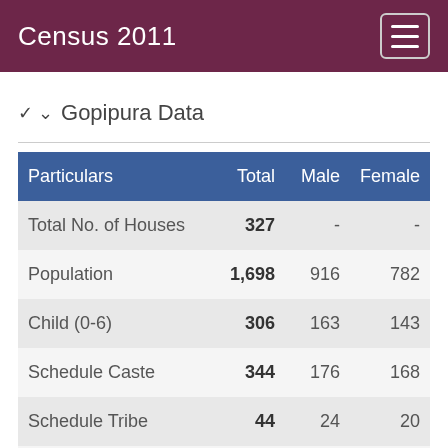Census 2011
Gopipura Data
| Particulars | Total | Male | Female |
| --- | --- | --- | --- |
| Total No. of Houses | 327 | - | - |
| Population | 1,698 | 916 | 782 |
| Child (0-6) | 306 | 163 | 143 |
| Schedule Caste | 344 | 176 | 168 |
| Schedule Tribe | 44 | 24 | 20 |
| Literacy | 62.07 % | 75.30 % | 46.48 % |